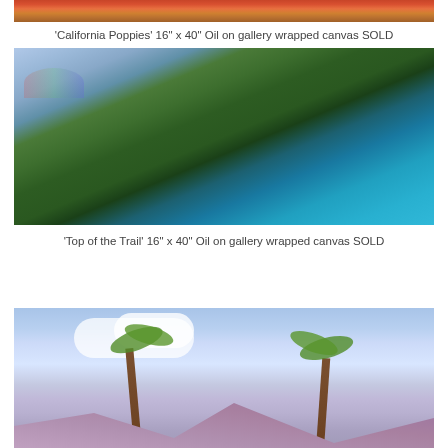[Figure (illustration): Partial view of 'California Poppies' oil painting showing orange poppies]
'California Poppies' 16" x 40" Oil on gallery wrapped canvas SOLD
[Figure (illustration): 'Top of the Trail' oil painting showing aerial view of Hawaiian coastline with green mountains and turquoise water]
'Top of the Trail' 16" x 40" Oil on gallery wrapped canvas SOLD
[Figure (illustration): Partial view of a third painting showing palm trees against a sky with clouds and mountains]